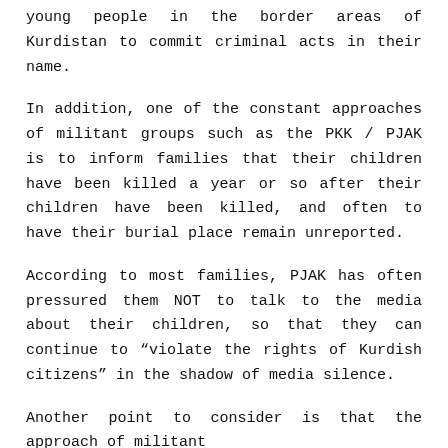young people in the border areas of Kurdistan to commit criminal acts in their name.
In addition, one of the constant approaches of militant groups such as the PKK / PJAK is to inform families that their children have been killed a year or so after their children have been killed, and often to have their burial place remain unreported.
According to most families, PJAK has often pressured them NOT to talk to the media about their children, so that they can continue to “violate the rights of Kurdish citizens” in the shadow of media silence.
Another point to consider is that the approach of militant